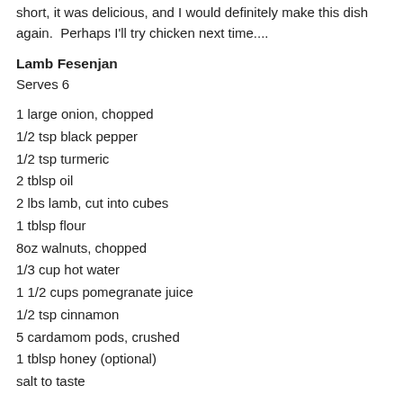short, it was delicious, and I would definitely make this dish again.  Perhaps I'll try chicken next time....
Lamb Fesenjan
Serves 6
1 large onion, chopped
1/2 tsp black pepper
1/2 tsp turmeric
2 tblsp oil
2 lbs lamb, cut into cubes
1 tblsp flour
8oz walnuts, chopped
1/3 cup hot water
1 1/2 cups pomegranate juice
1/2 tsp cinnamon
5 cardamom pods, crushed
1 tblsp honey (optional)
salt to taste
Sauté onion with turmeric and pepper in the oil until browned.  Remove from pot.  Add meat and brown on all